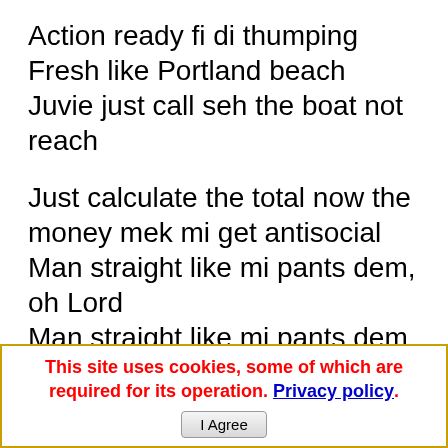Action ready fi di thumping
Fresh like Portland beach
Juvie just call seh the boat not reach
Just calculate the total now the money mek mi get antisocial
Man straight like mi pants dem, oh Lord
Man straight like mi pants dem, oh Lord
Fuzzy got di weed and di blem
Hot gyal a come cross bring a friend, oh lord
And them haffi like fimi friend dem
This site uses cookies, some of which are required for its operation. Privacy policy. I Agree